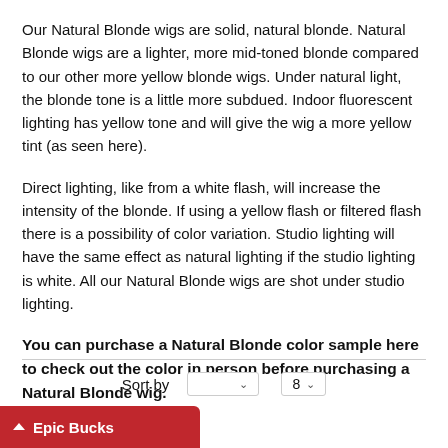Our Natural Blonde wigs are solid, natural blonde. Natural Blonde wigs are a lighter, more mid-toned blonde compared to our other more yellow blonde wigs. Under natural light, the blonde tone is a little more subdued. Indoor fluorescent lighting has yellow tone and will give the wig a more yellow tint (as seen here).
Direct lighting, like from a white flash, will increase the intensity of the blonde. If using a yellow flash or filtered flash there is a possibility of color variation. Studio lighting will have the same effect as natural lighting if the studio lighting is white. All our Natural Blonde wigs are shot under studio lighting.
You can purchase a Natural Blonde color sample here to check out the color in person before purchasing a Natural Blonde wig.
Sort by  8
Epic Bucks